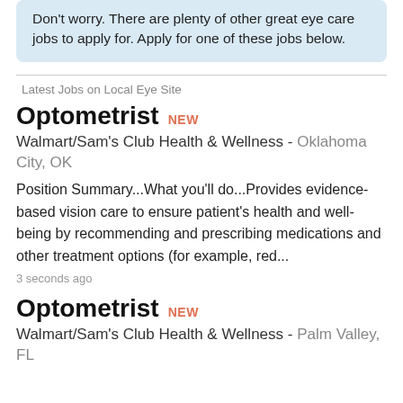Don't worry. There are plenty of other great eye care jobs to apply for. Apply for one of these jobs below.
Latest Jobs on Local Eye Site
Optometrist NEW
Walmart/Sam's Club Health & Wellness - Oklahoma City, OK
Position Summary...What you'll do...Provides evidence-based vision care to ensure patient's health and well-being by recommending and prescribing medications and other treatment options (for example, red...
3 seconds ago
Optometrist NEW
Walmart/Sam's Club Health & Wellness - Palm Valley, FL